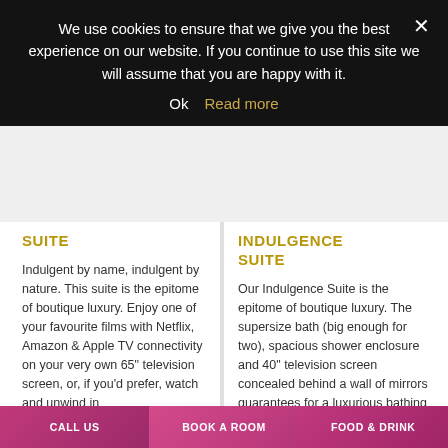We use cookies to ensure that we give you the best experience on our website. If you continue to use this site we will assume that you are happy with it.
Ok  Read more
SUITE
Indulgent by name, indulgent by nature. This suite is the epitome of boutique luxury. Enjoy one of your favourite films with Netflix, Amazon & Apple TV connectivity on your very own 65" television screen, or, if you'd prefer, watch and unwind in
INDULGENCE SUITE
Our Indulgence Suite is the epitome of boutique luxury. The supersize bath (big enough for two), spacious shower enclosure and 40" television screen concealed behind a wall of mirrors guarantees for a luxurious bathing time.
CALL US  BOOK A ROOM  FOOD & DRINK